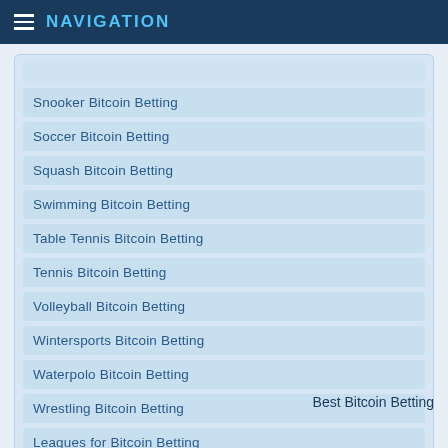NAVIGATION
Snooker Bitcoin Betting
Soccer Bitcoin Betting
Squash Bitcoin Betting
Swimming Bitcoin Betting
Table Tennis Bitcoin Betting
Tennis Bitcoin Betting
Volleyball Bitcoin Betting
Wintersports Bitcoin Betting
Waterpolo Bitcoin Betting
Wrestling Bitcoin Betting
Leagues for Bitcoin Betting
Best Bitcoin Betting